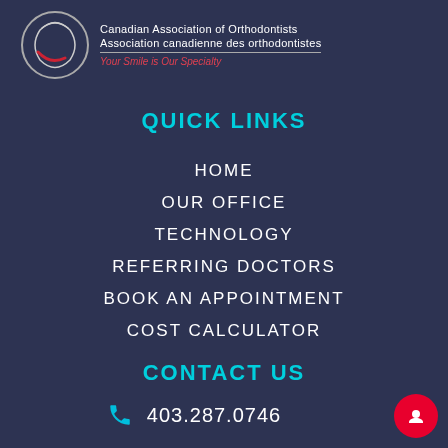[Figure (logo): Canadian Association of Orthodontists logo with circular icon and text. Lines read: 'Canadian Association of Orthodontists', 'Association canadienne des orthodontistes', 'Your Smile is Our Specialty' in italic red.]
QUICK LINKS
HOME
OUR OFFICE
TECHNOLOGY
REFERRING DOCTORS
BOOK AN APPOINTMENT
COST CALCULATOR
CONTACT US
403.287.0746